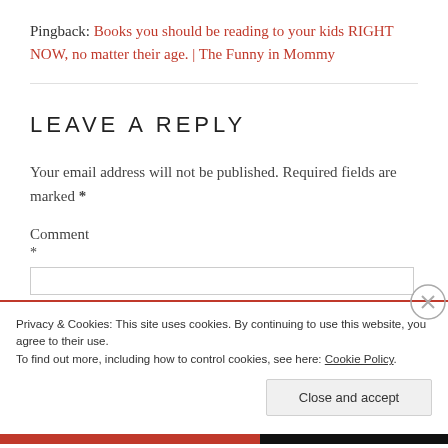Pingback: Books you should be reading to your kids RIGHT NOW, no matter their age. | The Funny in Mommy
LEAVE A REPLY
Your email address will not be published. Required fields are marked *
Comment *
Privacy & Cookies: This site uses cookies. By continuing to use this website, you agree to their use. To find out more, including how to control cookies, see here: Cookie Policy